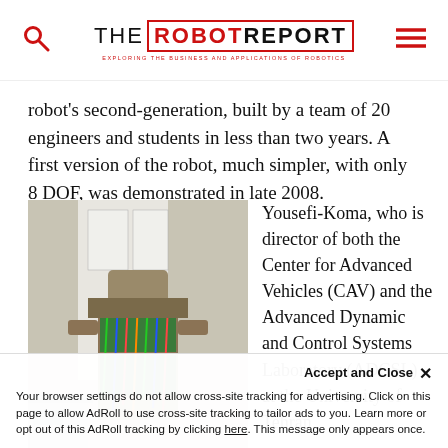THE ROBOT REPORT — EXPLORING THE BUSINESS AND APPLICATIONS OF ROBOTICS
robot's second-generation, built by a team of 20 engineers and students in less than two years. A first version of the robot, much simpler, with only 8 DOF, was demonstrated in late 2008.
[Figure (photo): Photo of a humanoid robot with exposed wiring and circuit boards, standing in a lab/workshop setting with technical drawings visible on the wall behind it.]
Yousefi-Koma, who is director of both the Center for Advanced Vehicles (CAV) and the Advanced Dynamic and Control Systems Laboratory (ADCSL) at the University of Tehran
Accept and Close ×
Your browser settings do not allow cross-site tracking for advertising. Click on this page to allow AdRoll to use cross-site tracking to tailor ads to you. Learn more or opt out of this AdRoll tracking by clicking here. This message only appears once.